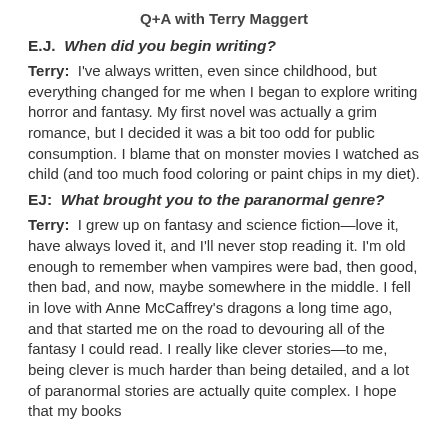Q+A with Terry Maggert
E.J.  When did you begin writing?
Terry:  I've always written, even since childhood, but everything changed for me when I began to explore writing horror and fantasy. My first novel was actually a grim romance, but I decided it was a bit too odd for public consumption. I blame that on monster movies I watched as child (and too much food coloring or paint chips in my diet).
EJ:  What brought you to the paranormal genre?
Terry:  I grew up on fantasy and science fiction—love it, have always loved it, and I'll never stop reading it. I'm old enough to remember when vampires were bad, then good, then bad, and now, maybe somewhere in the middle. I fell in love with Anne McCaffrey's dragons a long time ago, and that started me on the road to devouring all of the fantasy I could read. I really like clever stories—to me, being clever is much harder than being detailed, and a lot of paranormal stories are actually quite complex. I hope that my books